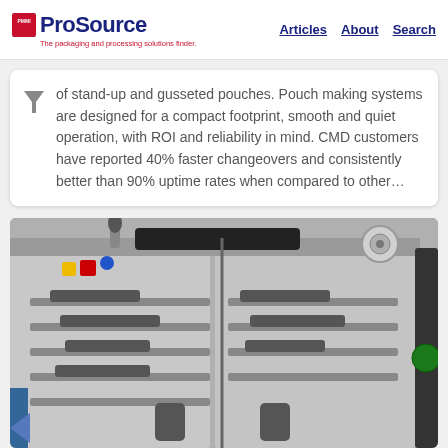PMMI ProSource — The packaging and processing solutions finder. Articles | About | Search
of stand-up and gusseted pouches. Pouch making systems are designed for a compact footprint, smooth and quiet operation, with ROI and reliability in mind. CMD customers have reported 40% faster changeovers and consistently better than 90% uptime rates when compared to other…
[Figure (photo): Close-up photograph of an industrial pouch-making machine showing the interior mechanical components, rollers, guides, and panel doors of CMD packaging equipment.]